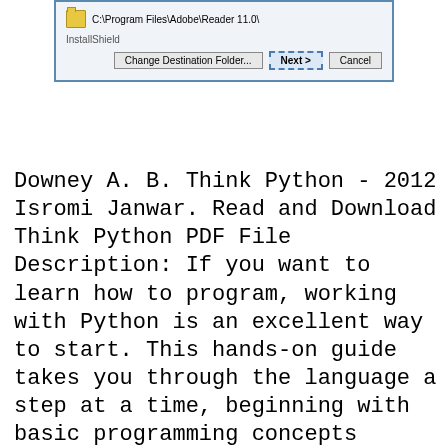[Figure (screenshot): A Windows dialog box showing an InstallShield installer for Adobe Reader 11.0. It displays a folder icon with the path C:\Program Files\Adobe\Reader 11.0\ and buttons: Change Destination Folder..., Next >, and Cancel.]
Downey A. B. Think Python - 2012 Isromi Janwar. Read and Download Think Python PDF File Description: If you want to learn how to program, working with Python is an excellent way to start. This hands-on guide takes you through the language a step at a time, beginning with basic programming concepts before moving on to functions, recursion, data structures, and object-oriented design. This second edition and its supporting code have been, 2012 English PDF 300 Pages 12.16 Mb. If you want to learn how to program, working